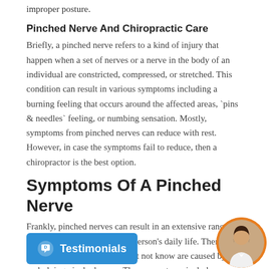improper posture.
Pinched Nerve And Chiropractic Care
Briefly, a pinched nerve refers to a kind of injury that happen when a set of nerves or a nerve in the body of an individual are constricted, compressed, or stretched. This condition can result in various symptoms including a burning feeling that occurs around the affected areas, `pins & needles` feeling, or numbing sensation. Mostly, symptoms from pinched nerves can reduce with rest. However, in case the symptoms fail to reduce, then a chiropractor is the best option.
Symptoms Of A Pinched Nerve
Frankly, pinched nerves can result in an extensive range of problems which may affect a person's daily life. There are some symptoms that one might not know are caused by underlying pinched nerve. These symptoms include: